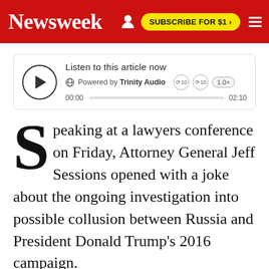Newsweek | SUBSCRIBE FOR $1 >
[Figure (other): Audio player widget: Listen to this article now, Powered by Trinity Audio, 00:00 - 02:10]
Speaking at a lawyers conference on Friday, Attorney General Jeff Sessions opened with a joke about the ongoing investigation into possible collusion between Russia and President Donald Trump's 2016 campaign.